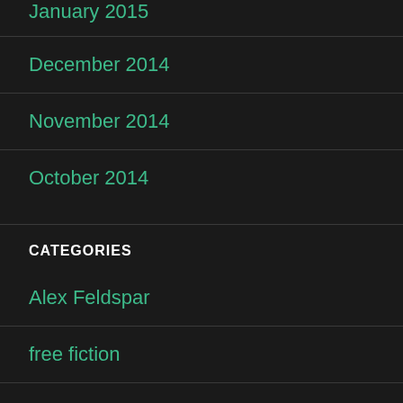January 2015
December 2014
November 2014
October 2014
CATEGORIES
Alex Feldspar
free fiction
Horoscopes